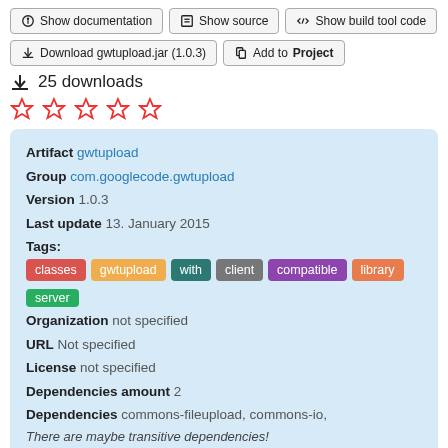Show documentation | Show source | Show build tool code
Download gwtupload.jar (1.0.3) | Add to Project
25 downloads
[Figure (other): Five red star rating icons (all empty/outline)]
Artifact gwtupload
Group com.googlecode.gwtupload
Version 1.0.3
Last update 13. January 2015
Tags: classes gwtupload with client compatible library server
Organization not specified
URL Not specified
License not specified
Dependencies amount 2
Dependencies commons-fileupload, commons-io,
There are maybe transitive dependencies!
gwtupload from group com.googlecode.gwtupload (version 1.0.1)